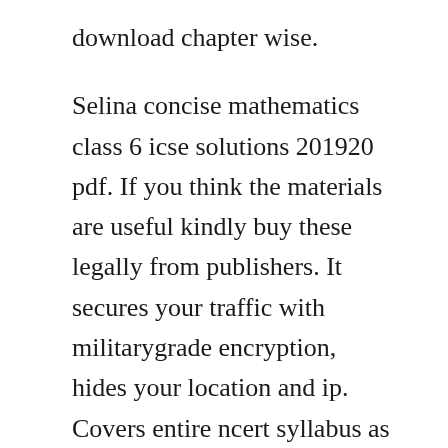download chapter wise.
Selina concise mathematics class 6 icse solutions 201920 pdf. If you think the materials are useful kindly buy these legally from publishers. It secures your traffic with militarygrade encryption, hides your location and ip. Covers entire ncert syllabus as well as the questions for competitive exams. Strategy people usually try to study from two books ncert and reference. Middle school mathematics class 6 selina solutions by rk bansal. This book covers all the theory over